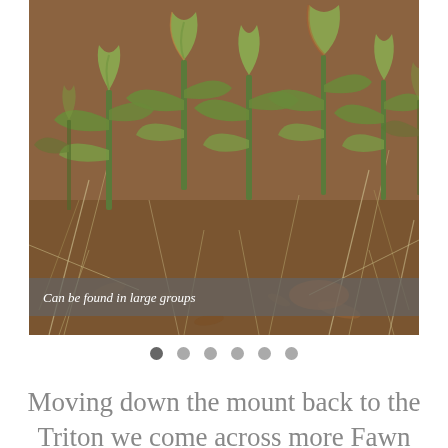[Figure (photo): A cluster of Fawn snail orchid plants growing from dry ground with dried grass and leaf litter. The plants are green with curved, elongated petals and buds, photographed at ground level.]
Can be found in large groups
Moving down the mount back to the Triton we come across more Fawn snail orchids. Nothing more so we move on in a south easterly